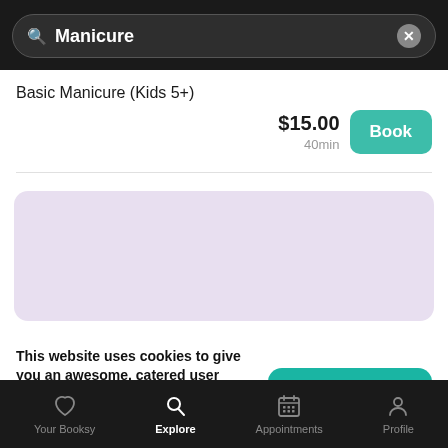[Figure (screenshot): Search bar with 'Manicure' text and close button on dark background]
Basic Manicure (Kids 5+)
$15.00
40min
Book
[Figure (illustration): Light purple/lavender placeholder card area]
This website uses cookies to give you an awesome, catered user experience.
Continuing on after seeing this message means that you're cool with that.
Ok, continue
Your Booksy  Explore  Appointments  Profile